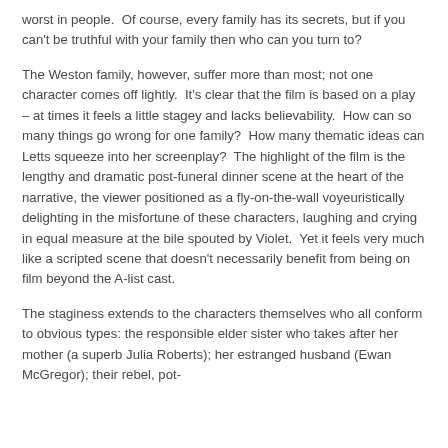worst in people.  Of course, every family has its secrets, but if you can't be truthful with your family then who can you turn to?
The Weston family, however, suffer more than most; not one character comes off lightly.  It's clear that the film is based on a play – at times it feels a little stagey and lacks believability.  How can so many things go wrong for one family?  How many thematic ideas can Letts squeeze into her screenplay?  The highlight of the film is the lengthy and dramatic post-funeral dinner scene at the heart of the narrative, the viewer positioned as a fly-on-the-wall voyeuristically delighting in the misfortune of these characters, laughing and crying in equal measure at the bile spouted by Violet.  Yet it feels very much like a scripted scene that doesn't necessarily benefit from being on film beyond the A-list cast.
The staginess extends to the characters themselves who all conform to obvious types: the responsible elder sister who takes after her mother (a superb Julia Roberts); her estranged husband (Ewan McGregor); their rebel, pot-